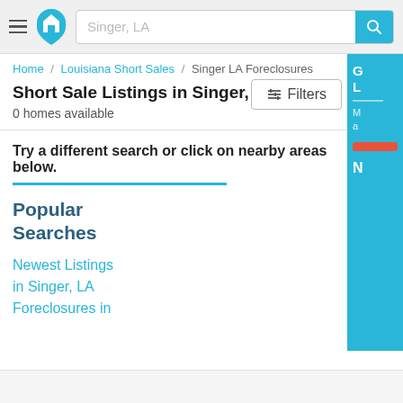Singer, LA [search bar with search button]
Home / Louisiana Short Sales / Singer LA Foreclosures
Short Sale Listings in Singer, LA
0 homes available
Try a different search or click on nearby areas below.
Popular Searches
Newest Listings
in Singer, LA
Foreclosures in